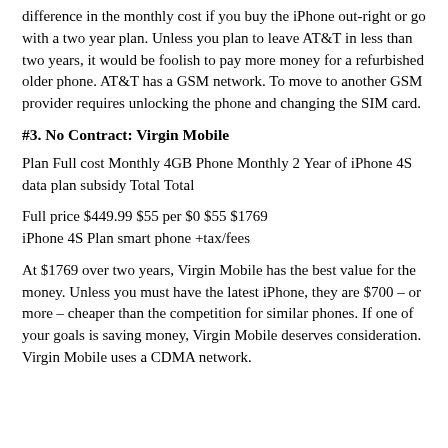difference in the monthly cost if you buy the iPhone out-right or go with a two year plan. Unless you plan to leave AT&T in less than two years, it would be foolish to pay more money for a refurbished older phone. AT&T has a GSM network. To move to another GSM provider requires unlocking the phone and changing the SIM card.
#3. No Contract: Virgin Mobile
Plan Full cost Monthly 4GB Phone Monthly 2 Year of iPhone 4S data plan subsidy Total Total
Full price $449.99 $55 per $0 $55 $1769 iPhone 4S Plan smart phone +tax/fees
At $1769 over two years, Virgin Mobile has the best value for the money. Unless you must have the latest iPhone, they are $700 – or more – cheaper than the competition for similar phones. If one of your goals is saving money, Virgin Mobile deserves consideration. Virgin Mobile uses a CDMA network.